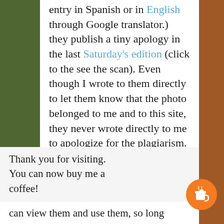entry in Spanish or in English through Google translator.) they publish a tiny apology in the last Saturday's edition (click to the see the scan). Even though I wrote to them directly to let them know that the photo belonged to me and to this site, they never wrote directly to me to apologize for the plagiarism. After being told about the apology on Monday by a friend, I decided to not continue demanding a direct apology or compensation for
Thank you for visiting. You can now buy me a coffee!
can view them and use them, so long